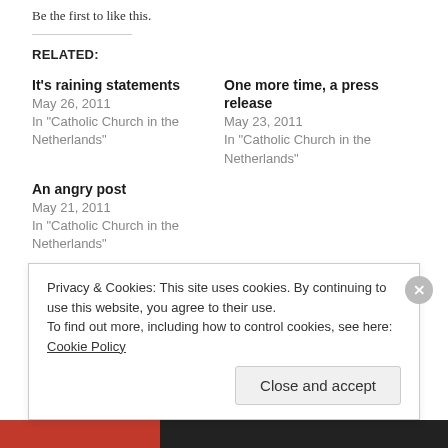Be the first to like this.
RELATED:
It's raining statements
May 26, 2011
In "Catholic Church in the Netherlands"
One more time, a press release
May 23, 2011
In "Catholic Church in the Netherlands"
An angry post
May 21, 2011
In "Catholic Church in the Netherlands"
Privacy & Cookies: This site uses cookies. By continuing to use this website, you agree to their use.
To find out more, including how to control cookies, see here: Cookie Policy
Close and accept